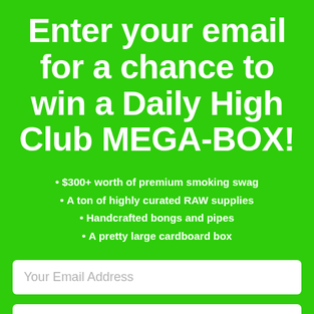Enter your email for a chance to win a Daily High Club MEGA-BOX!
$300+ worth of premium smoking swag
A ton of highly curated RAW supplies
Handcrafted bongs and pipes
A pretty large cardboard box
Your Email Address
ENTER TO WIN A MEGA BOX